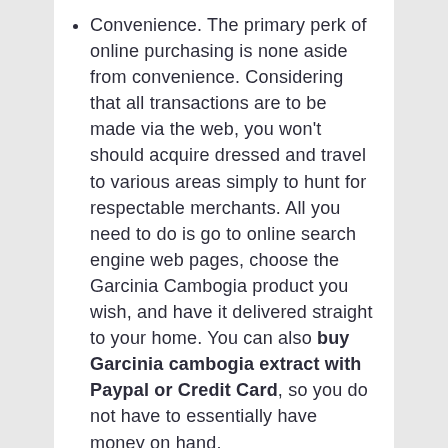Convenience. The primary perk of online purchasing is none aside from convenience. Considering that all transactions are to be made via the web, you won't should acquire dressed and travel to various areas simply to hunt for respectable merchants. All you need to do is go to online search engine web pages, choose the Garcinia Cambogia product you wish, and have it delivered straight to your home. You can also buy Garcinia cambogia extract with Paypal or Credit Card, so you do not have to essentially have money on hand.
Large range of option. The online globe supplies hundreds of stores